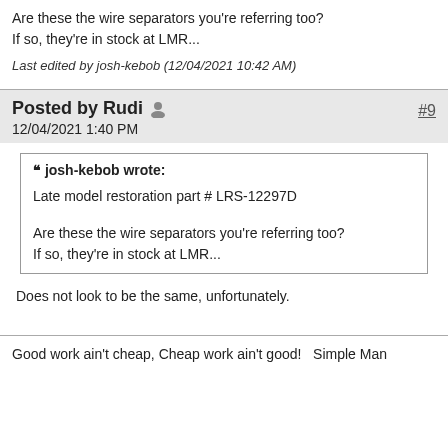Are these the wire separators you're referring too?
If so, they're in stock at LMR...
Last edited by josh-kebob (12/04/2021 10:42 AM)
Posted by Rudi  #9
12/04/2021 1:40 PM
❝ josh-kebob wrote:
Late model restoration part # LRS-12297D
Are these the wire separators you're referring too?
If so, they're in stock at LMR...
Does not look to be the same, unfortunately.
Good work ain't cheap, Cheap work ain't good!   Simple Man